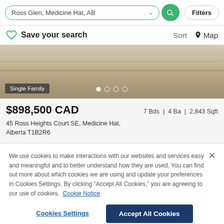Ross Glen, Medicine Hat, AB — Search with Filters
Save your search   Sort   Map
[Figure (photo): Property exterior photo showing a light tan/beige concrete or paved surface, partially cropped. Badge reading 'Single Family' and four navigation dots overlaid at bottom.]
$898,500 CAD   7 Bds | 4 Ba | 2,843 Sqft
45 Ross Heights Court SE, Medicine Hat, Alberta T1B2R6
We use cookies to make interactions with our websites and services easy and meaningful and to better understand how they are used. You can find out more about which cookies we are using and update your preferences in Cookies Settings. By clicking "Accept All Cookies," you are agreeing to our use of cookies.  Cookie Notice
Cookies Settings   Accept All Cookies